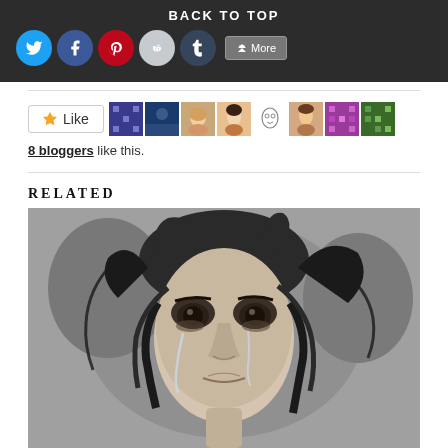BACK TO TOP
[Figure (infographic): Social sharing icons row: Twitter (blue circle), Facebook (dark blue circle), Pinterest (red circle), Reddit (gray circle), Tumblr (dark blue circle), More button]
[Figure (infographic): Like button with star icon followed by 8 blogger avatar thumbnails]
8 bloggers like this.
RELATED
[Figure (illustration): Pencil/charcoal drawing of a young woman with tears streaming down her face, with detailed expressive eyes and disheveled hair]